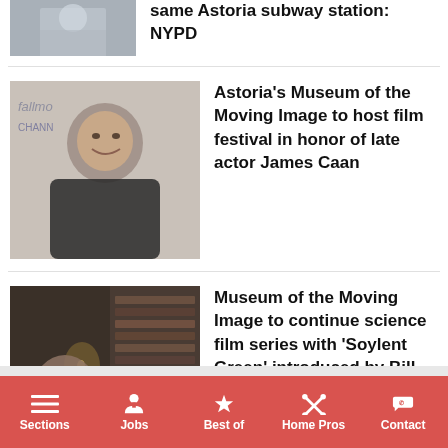[Figure (photo): Partial thumbnail of a person at top of page]
same Astoria subway station: NYPD
[Figure (photo): James Caan at Hallmark Channel event, smiling in a dark jacket]
Astoria's Museum of the Moving Image to host film festival in honor of late actor James Caan
[Figure (photo): Two people in a dark scene, one holding a candle, bookshelves behind]
Museum of the Moving Image to continue science film series with 'Soylent Green' introduced by Bill Nye and more
Sections  Jobs  Best of  Home Pros  Contact